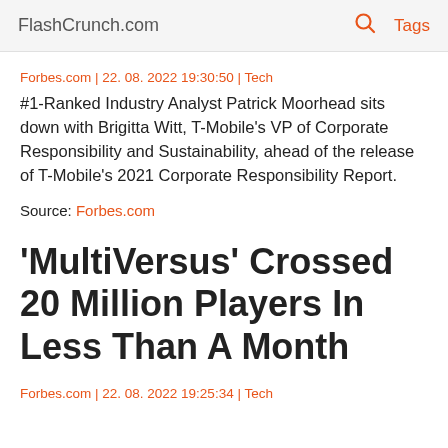FlashCrunch.com | Tags
Forbes.com | 22. 08. 2022 19:30:50 | Tech
#1-Ranked Industry Analyst Patrick Moorhead sits down with Brigitta Witt, T-Mobile's VP of Corporate Responsibility and Sustainability, ahead of the release of T-Mobile's 2021 Corporate Responsibility Report.
Source: Forbes.com
‘MultiVersus’ Crossed 20 Million Players In Less Than A Month
Forbes.com | 22. 08. 2022 19:25:34 | Tech